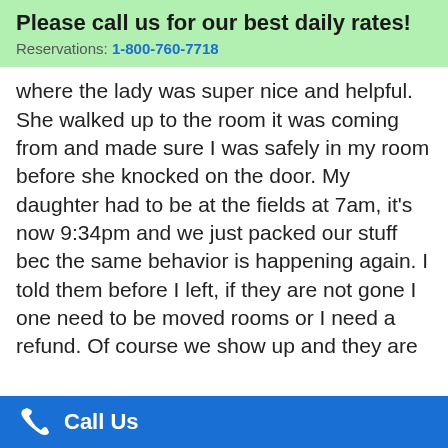Please call us for our best daily rates! Reservations: 1-800-760-7718
where the lady was super nice and helpful. She walked up to the room it was coming from and made sure I was safely in my room before she knocked on the door. My daughter had to be at the fields at 7am, it's now 9:34pm and we just packed our stuff bec the same behavior is happening again. I told them before I left, if they are not gone I one need to be moved rooms or I need a refund. Of course we show up and they are still there. We now have a four hour trip home bec “they don't have any rooms” well I bring it up on my phone that it's funny I can book one right now. weird yeah. I have stayed here before and it was great, NEVER again will I stay here with whores and possibly drug heads banging on my wall with a
Call Us